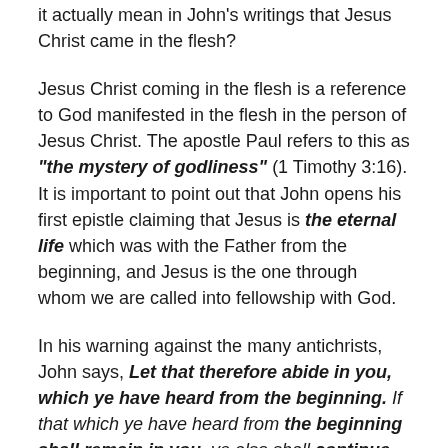it actually mean in John's writings that Jesus Christ came in the flesh?
Jesus Christ coming in the flesh is a reference to God manifested in the flesh in the person of Jesus Christ. The apostle Paul refers to this as “the mystery of godliness” (1 Timothy 3:16). It is important to point out that John opens his first epistle claiming that Jesus is the eternal life which was with the Father from the beginning, and Jesus is the one through whom we are called into fellowship with God.
In his warning against the many antichrists, John says, Let that therefore abide in you, which ye have heard from the beginning. If that which ye have heard from the beginning shall remain in you, ye also shall continue in the Son, and in the Father. And this is the promise that he